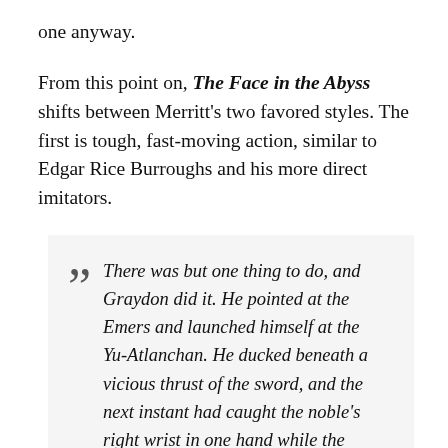one anyway.
From this point on, The Face in the Abyss shifts between Merritt's two favored styles. The first is tough, fast-moving action, similar to Edgar Rice Burroughs and his more direct imitators.
There was but one thing to do, and Graydon did it. He pointed at the Emers and launched himself at the Yu-Atlanchan. He ducked beneath a vicious thrust of the sword, and the next instant had caught the noble's right wrist in one hand while the other throttled him. It was no time